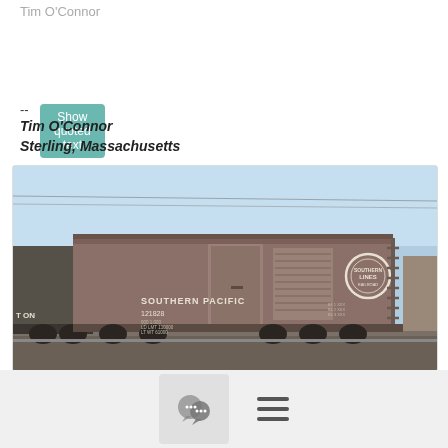Tim O'Connor
Show quoted text
--
Tim O'Connor
Sterling, Massachusetts
[Figure (photo): A Southern Pacific railroad boxcar numbered 121828 photographed outdoors. The brown/maroon boxcar displays 'SOUTHERN PACIFIC' in white lettering on the side, along with the number 121828. A circular Southern Pacific Railroad logo is visible on the right side of the car. The photo shows a clear blue sky background with utility wires visible above. Parts of other rail cars are visible at the edges of the frame.]
[Figure (other): Bottom navigation bar with a speech bubble / chat icon in a grey box on the left and a hamburger menu icon on the right]